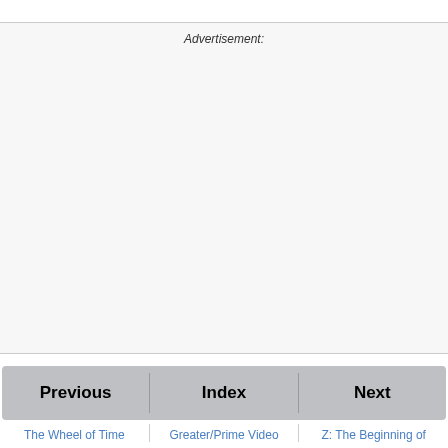Advertisement:
[Figure (other): Empty advertisement area with light gray background]
| Previous | Index | Next |
| --- | --- | --- |
| The Wheel of Time | Greater/Prime Video | Z: The Beginning of |
The Wheel of Time
Greater/Prime Video
Z: The Beginning of